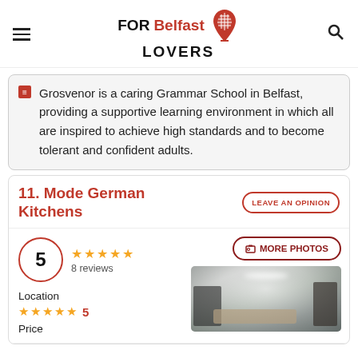FOR Belfast LOVERS
Grosvenor is a caring Grammar School in Belfast, providing a supportive learning environment in which all are inspired to achieve high standards and to become tolerant and confident adults.
11. Mode German Kitchens
LEAVE AN OPINION
5 — 8 reviews — 5 stars
MORE PHOTOS
Location
5
Price